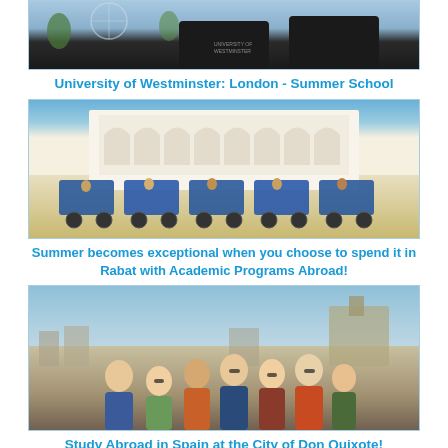[Figure (photo): Two people wearing University of Westminster black t-shirts, partially cropped at top, with a Ferris wheel and trees in background]
University of Westminster: London - Summer School
[Figure (photo): Group of students on pedicabs/rickshaws in front of a white Moorish-style building with arched colonnade in Rabat, Morocco]
Summer becomes exceptional when you choose to spend it in Rabat with Academic Programs Abroad!
[Figure (photo): Group of smiling young students posing together with a Spanish city landscape (Toledo) in the background]
Study Abroad in Spain at the City of Don Quixote!
[Figure (photo): Partial view of a person, bottom of page]
feedback & support